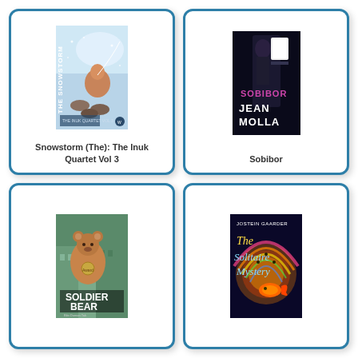[Figure (illustration): Book cover for Snowstorm (The): The Inuk Quartet Vol 3, showing an Inuit person with sled dogs in a snowstorm, blue/white tones]
Snowstorm (The): The Inuk Quartet Vol 3
[Figure (illustration): Book cover for Sobibor by Jean Molla, dark cover with pink title text SOBIBOR and author name JEAN MOLLA in white]
Sobibor
[Figure (illustration): Book cover for Soldier Bear by Bibi Dumon Tak, illustrated with a bear and buildings in background]
[Figure (illustration): Book cover for The Solitaire Mystery by Jostein Gaarder, colorful swirling design with goldfish]